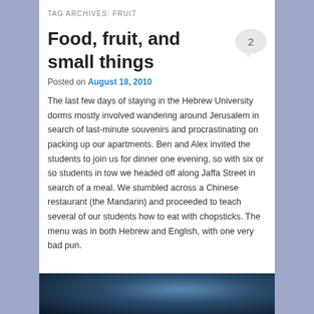TAG ARCHIVES: FRUIT
Food, fruit, and small things
Posted on August 18, 2010
The last few days of staying in the Hebrew University dorms mostly involved wandering around Jerusalem in search of last-minute souvenirs and procrastinating on packing up our apartments. Ben and Alex invited the students to join us for dinner one evening, so with six or so students in tow we headed off along Jaffa Street in search of a meal. We stumbled across a Chinese restaurant (the Mandarin) and proceeded to teach several of our students how to eat with chopsticks. The menu was in both Hebrew and English, with one very bad pun.
[Figure (photo): Partial photograph visible at bottom of page, appears to show a bowl or curved object with blue/dark tones]